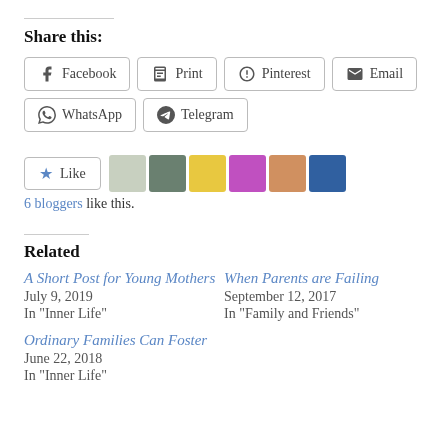Share this:
Facebook
Print
Pinterest
Email
WhatsApp
Telegram
Like
6 bloggers like this.
Related
A Short Post for Young Mothers
July 9, 2019
In "Inner Life"
When Parents are Failing
September 12, 2017
In "Family and Friends"
Ordinary Families Can Foster
June 22, 2018
In "Inner Life"